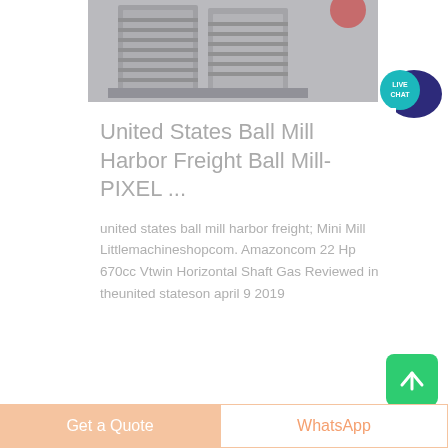[Figure (photo): Industrial ball mill / jaw crusher machine, grey metal equipment on floor, partial top view]
United States Ball Mill Harbor Freight Ball Mill-PIXEL ...
united states ball mill harbor freight; Mini Mill Littlemachineshopcom. Amazoncom 22 Hp 670cc Vtwin Horizontal Shaft Gas Reviewed in theunited stateson april 9 2019
[Figure (illustration): Live Chat speech bubble icon with dark blue chat bubble and teal circle with LIVE CHAT text]
[Figure (illustration): Green scroll-to-top button with upward arrow]
Get a Quote
WhatsApp